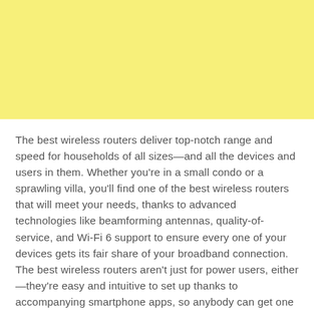[Figure (other): Yellow rectangular background block occupying the top portion of the page]
The best wireless routers deliver top-notch range and speed for households of all sizes—and all the devices and users in them. Whether you're in a small condo or a sprawling villa, you'll find one of the best wireless routers that will meet your needs, thanks to advanced technologies like beamforming antennas, quality-of-service, and Wi-Fi 6 support to ensure every one of your devices gets its fair share of your broadband connection. The best wireless routers aren't just for power users, either—they're easy and intuitive to set up thanks to accompanying smartphone apps, so anybody can get one